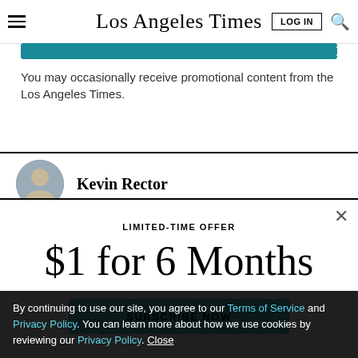Los Angeles Times
You may occasionally receive promotional content from the Los Angeles Times.
Kevin Rector
LIMITED-TIME OFFER
$1 for 6 Months
SUBSCRIBE NOW
By continuing to use our site, you agree to our Terms of Service and Privacy Policy. You can learn more about how we use cookies by reviewing our Privacy Policy. Close